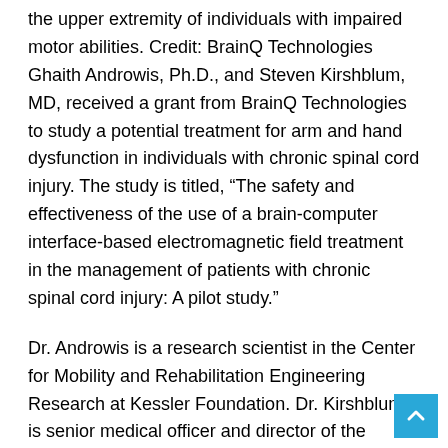the upper extremity of individuals with impaired motor abilities. Credit: BrainQ Technologies
Ghaith Androwis, Ph.D., and Steven Kirshblum, MD, received a grant from BrainQ Technologies to study a potential treatment for arm and hand dysfunction in individuals with chronic spinal cord injury. The study is titled, “The safety and effectiveness of the use of a brain-computer interface-based electromagnetic field treatment in the management of patients with chronic spinal cord injury: A pilot study.”
Dr. Androwis is a research scientist in the Center for Mobility and Rehabilitation Engineering Research at Kessler Foundation. Dr. Kirshblum is senior medical officer and director of the Spinal Cord Injury Program for Kessler Institute for Rehabilitation, chief academic officer for the Select Medical Rehabilitation Division and the chief medical officer of Kessler Foundation. He serves as chair of the